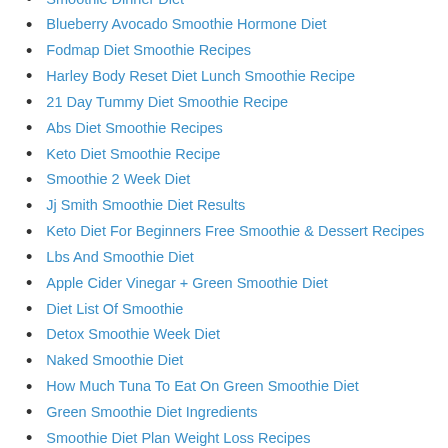Smoothie Dinner Diet
Blueberry Avocado Smoothie Hormone Diet
Fodmap Diet Smoothie Recipes
Harley Body Reset Diet Lunch Smoothie Recipe
21 Day Tummy Diet Smoothie Recipe
Abs Diet Smoothie Recipes
Keto Diet Smoothie Recipe
Smoothie 2 Week Diet
Jj Smith Smoothie Diet Results
Keto Diet For Beginners Free Smoothie & Dessert Recipes
Lbs And Smoothie Diet
Apple Cider Vinegar + Green Smoothie Diet
Diet List Of Smoothie
Detox Smoothie Week Diet
Naked Smoothie Diet
How Much Tuna To Eat On Green Smoothie Diet
Green Smoothie Diet Ingredients
Smoothie Diet Plan Weight Loss Recipes